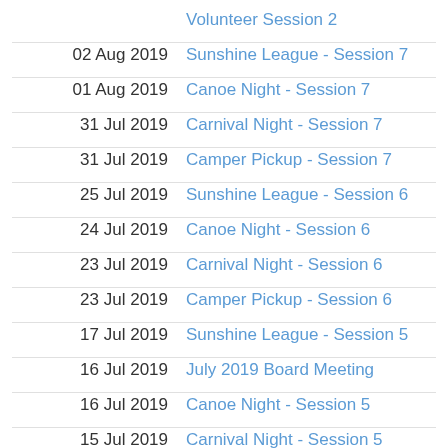Volunteer Session 2
02 Aug 2019  Sunshine League - Session 7
01 Aug 2019  Canoe Night - Session 7
31 Jul 2019  Carnival Night - Session 7
31 Jul 2019  Camper Pickup - Session 7
25 Jul 2019  Sunshine League - Session 6
24 Jul 2019  Canoe Night - Session 6
23 Jul 2019  Carnival Night - Session 6
23 Jul 2019  Camper Pickup - Session 6
17 Jul 2019  Sunshine League - Session 5
16 Jul 2019  July 2019 Board Meeting
16 Jul 2019  Canoe Night - Session 5
15 Jul 2019  Carnival Night - Session 5
15 Jul 2019  Camper Pickup - Session 5